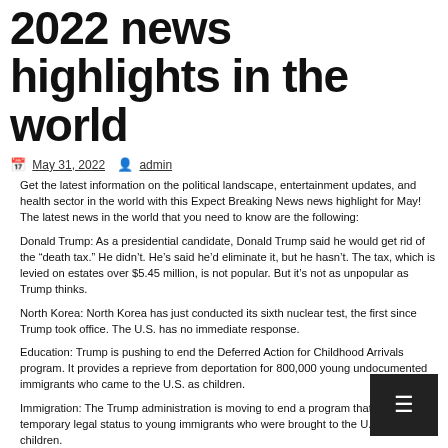2022 news highlights in the world
May 31, 2022  admin
Get the latest information on the political landscape, entertainment updates, and health sector in the world with this Expect Breaking News news highlight for May! The latest news in the world that you need to know are the following:
Donald Trump: As a presidential candidate, Donald Trump said he would get rid of the “death tax.” He didn’t. He’s said he’d eliminate it, but he hasn’t. The tax, which is levied on estates over $5.45 million, is not popular. But it’s not as unpopular as Trump thinks.
North Korea: North Korea has just conducted its sixth nuclear test, the first since Trump took office. The U.S. has no immediate response.
Education: Trump is pushing to end the Deferred Action for Childhood Arrivals program. It provides a reprieve from deportation for 800,000 young undocumented immigrants who came to the U.S. as children.
Immigration: The Trump administration is moving to end a program that grants temporary legal status to young immigrants who were brought to the U.S. as children.
We’re also going to talk about Trump’s upcoming visit to the G7 summit in Quebec.
* The world’s best-selling smartphone, the Apple iPhone, is expected to be out of stock for several days.